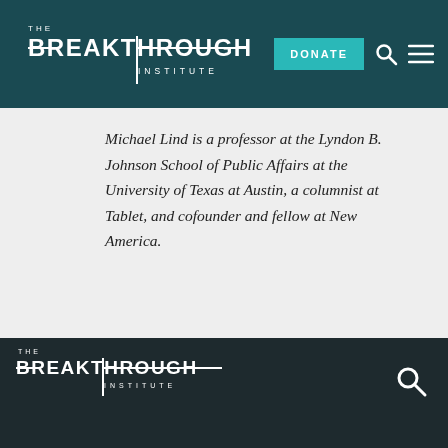[Figure (logo): The Breakthrough Institute logo in white on dark teal navigation bar with DONATE button, search icon, and hamburger menu icon]
Michael Lind is a professor at the Lyndon B. Johnson School of Public Affairs at the University of Texas at Austin, a columnist at Tablet, and cofounder and fellow at New America.
[Figure (logo): The Breakthrough Institute logo in white on dark background footer with search icon]